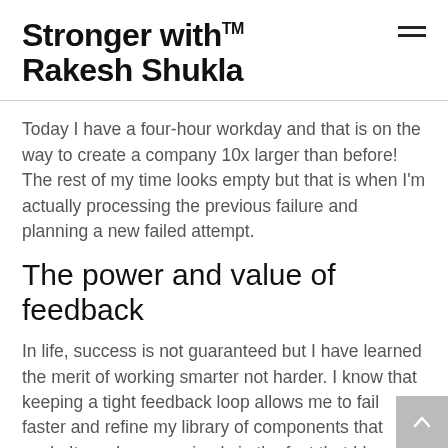Stronger with™ Rakesh Shukla
Today I have a four-hour workday and that is on the way to create a company 10x larger than before! The rest of my time looks empty but that is when I'm actually processing the previous failure and planning a new failed attempt.
The power and value of feedback
In life, success is not guaranteed but I have learned the merit of working smarter not harder. I know that keeping a tight feedback loop allows me to fail faster and refine my library of components that work. It can be seen simply in the fact that I have a four-hour workday or less,